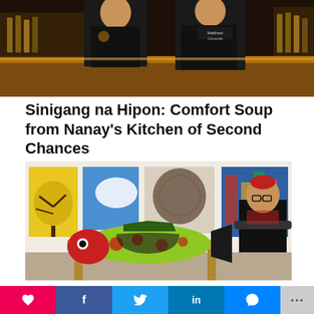[Figure (photo): Two people in dark chef/work uniforms standing behind a bar or counter with warm interior lighting]
Sinigang na Hipon: Comfort Soup from Nanay's Kitchen of Second Chances
[Figure (photo): Man standing with arms crossed beside a large decorative painted fish sculpture on a wooden table, with colorful paintings on the wall behind him]
B.C. artist tackles complex issues of mental health and aboriginal rights